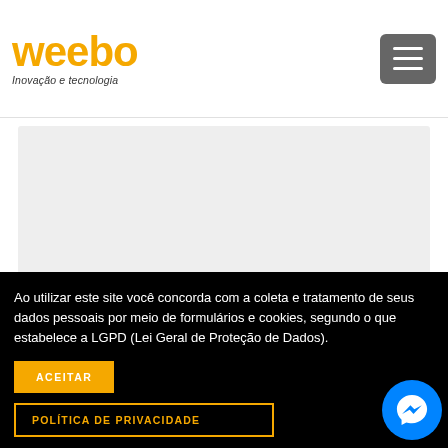[Figure (logo): Weebo logo with orange bubbly text and tagline 'Inovação e tecnologia']
[Figure (other): Hamburger menu button (three horizontal lines on gray background)]
[Figure (other): Light gray content placeholder box]
[Figure (other): Orange horizontal strip]
[Figure (other): Dark gray horizontal strip]
Ao utilizar este site você concorda com a coleta e tratamento de seus dados pessoais por meio de formulários e cookies, segundo o que estabelece a LGPD (Lei Geral de Proteção de Dados).
ACEITAR
POLÍTICA DE PRIVACIDADE
[Figure (other): Facebook Messenger blue circle chat bubble icon]